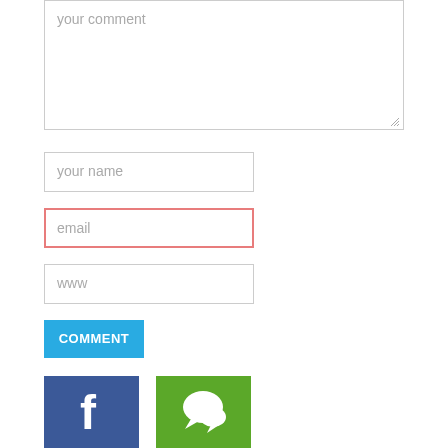[Figure (screenshot): A web comment form with textarea placeholder 'your comment', input fields for name, email (with red/pink border indicating validation error), and www, a blue COMMENT button, and social media icons (Facebook blue and a green chat/comment icon) at the bottom.]